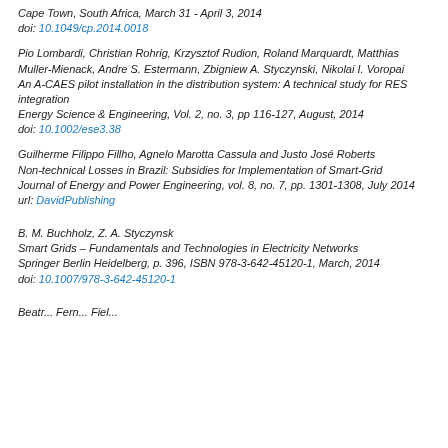Cape Town, South Africa, March 31 - April 3, 2014
doi: 10.1049/cp.2014.0018
Pio Lombardi, Christian Rohrig, Krzysztof Rudion, Roland Marquardt, Matthias Muller-Mienack, Andre S. Estermann, Zbigniew A. Styczynski, Nikolai I. Voropai
An A-CAES pilot installation in the distribution system: A technical study for RES integration
Energy Science & Engineering, Vol. 2, no. 3, pp 116-127, August, 2014
doi: 10.1002/ese3.38
Guilherme Filippo Fillho, Agnelo Marotta Cassula and Justo José Roberts
Non-technical Losses in Brazil: Subsidies for Implementation of Smart-Grid
Journal of Energy and Power Engineering, vol. 8, no. 7, pp. 1301-1308, July 2014
url: DavidPublishing
B. M. Buchholz, Z. A. Styczynsk
Smart Grids – Fundamentals and Technologies in Electricity Networks
Springer Berlin Heidelberg, p. 396, ISBN 978-3-642-45120-1, March, 2014
doi: 10.1007/978-3-642-45120-1
Beatr... Fern... Fiel...